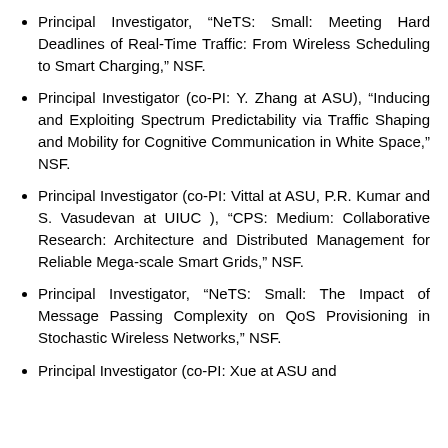Principal Investigator, “NeTS: Small: Meeting Hard Deadlines of Real-Time Traffic: From Wireless Scheduling to Smart Charging,” NSF.
Principal Investigator (co-PI: Y. Zhang at ASU), “Inducing and Exploiting Spectrum Predictability via Traffic Shaping and Mobility for Cognitive Communication in White Space,” NSF.
Principal Investigator (co-PI: Vittal at ASU, P.R. Kumar and S. Vasudevan at UIUC ), “CPS: Medium: Collaborative Research: Architecture and Distributed Management for Reliable Mega-scale Smart Grids,” NSF.
Principal Investigator, “NeTS: Small: The Impact of Message Passing Complexity on QoS Provisioning in Stochastic Wireless Networks,” NSF.
Principal Investigator (co-PI: Xue at ASU and